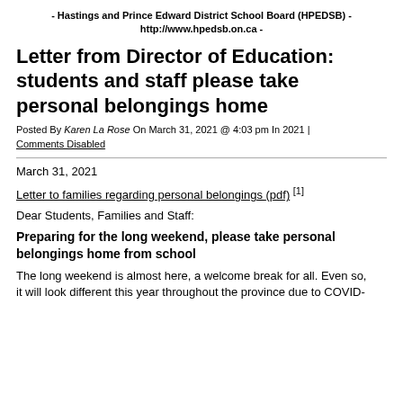- Hastings and Prince Edward District School Board (HPEDSB) - http://www.hpedsb.on.ca -
Letter from Director of Education: students and staff please take personal belongings home
Posted By Karen La Rose On March 31, 2021 @ 4:03 pm In 2021 | Comments Disabled
March 31, 2021
Letter to families regarding personal belongings (pdf) [1]
Dear Students, Families and Staff:
Preparing for the long weekend, please take personal belongings home from school
The long weekend is almost here, a welcome break for all. Even so, it will look different this year throughout the province due to COVID-